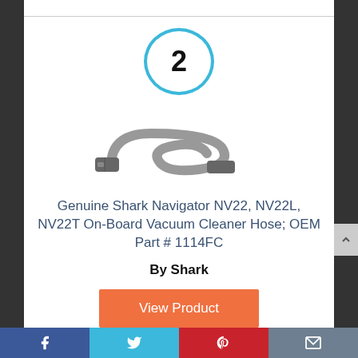[Figure (other): Number 2 inside a cyan/blue circle badge]
[Figure (photo): Photo of a grey vacuum cleaner hose (Shark Navigator On-Board Hose)]
Genuine Shark Navigator NV22, NV22L, NV22T On-Board Vacuum Cleaner Hose; OEM Part # 1114FC
By Shark
View Product
Facebook | Twitter | Pinterest | Email